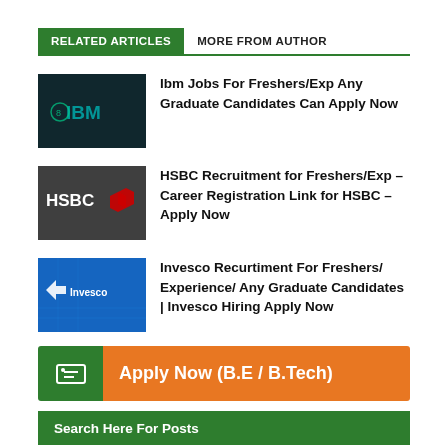RELATED ARTICLES | MORE FROM AUTHOR
Ibm Jobs For Freshers/Exp Any Graduate Candidates Can Apply Now
HSBC Recruitment for Freshers/Exp – Career Registration Link for HSBC – Apply Now
Invesco Recurtiment For Freshers/ Experience/ Any Graduate Candidates | Invesco Hiring Apply Now
Apply Now (B.E / B.Tech)
Search Here For Posts